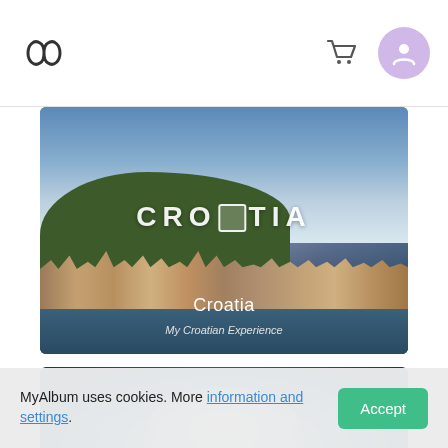[Figure (screenshot): Website header navigation bar with MyAlbum logo (infinity-like icon) on the left, shopping cart icon and purple user avatar on the right]
[Figure (photo): Photo album card showing a coastal Croatian hillside town with colorful buildings, blue sea, and blue sky. Text overlay reads CROATIA in large letters and card title 'Croatia' with subtitle 'My Croatian Experience']
[Figure (photo): Second photo album card showing a turquoise/deep blue ocean underwater or aerial view with bright light reflection in the center]
MyAlbum uses cookies. More information and settings.
Accept